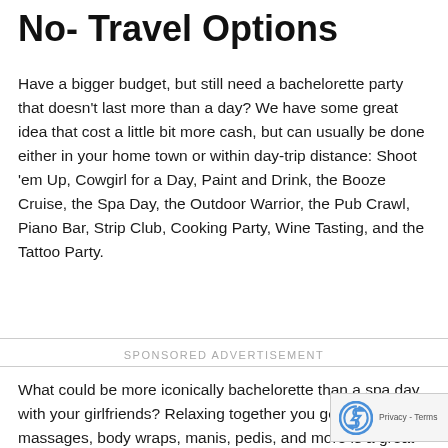No- Travel Options
Have a bigger budget, but still need a bachelorette party that doesn't last more than a day?  We have some great idea that cost a little bit more cash, but can usually be done either in your home town or within day-trip distance: Shoot 'em Up, Cowgirl for a Day, Paint and Drink, the Booze Cruise, the Spa Day, the Outdoor Warrior, the Pub Crawl, Piano Bar, Strip Club, Cooking Party, Wine Tasting, and the Tattoo Party.
SPONSORED ADVERTISEMENT
What could be more iconically bachelorette than a spa day with your girlfriends?  Relaxing together you get facials, massages, body wraps, manis, pedis, and more is a great way to bond.  This is the one idea that we encourage even if you can't have